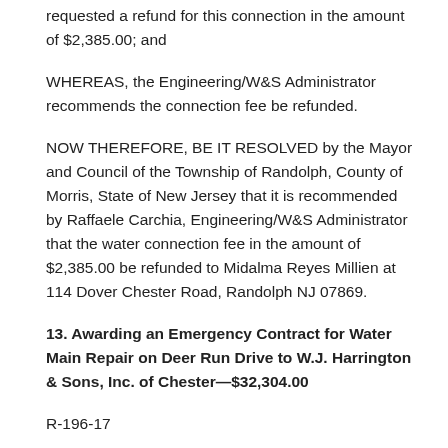requested a refund for this connection in the amount of $2,385.00; and
WHEREAS, the Engineering/W&S Administrator recommends the connection fee be refunded.
NOW THEREFORE, BE IT RESOLVED by the Mayor and Council of the Township of Randolph, County of Morris, State of New Jersey that it is recommended by Raffaele Carchia, Engineering/W&S Administrator that the water connection fee in the amount of $2,385.00 be refunded to Midalma Reyes Millien at 114 Dover Chester Road, Randolph NJ 07869.
13. Awarding an Emergency Contract for Water Main Repair on Deer Run Drive to W.J. Harrington & Sons, Inc. of Chester—$32,304.00
R-196-17
WHEREAS, on May 4, 2017, there was a leaking and